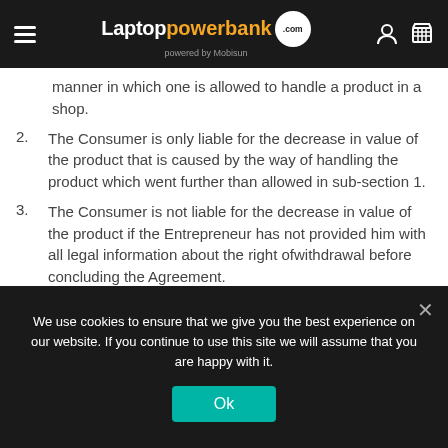Laptoppowerbank.com powered by Mobisun
manner in which one is allowed to handle a product in a shop.
2. The Consumer is only liable for the decrease in value of the product that is caused by the way of handling the product which went further than allowed in sub-section 1.
3. The Consumer is not liable for the decrease in value of the product if the Entrepreneur has not provided him with all legal information about the right ofwithdrawal before concluding the Agreement.
We use cookies to ensure that we give you the best experience on our website. If you continue to use this site we will assume that you are happy with it.